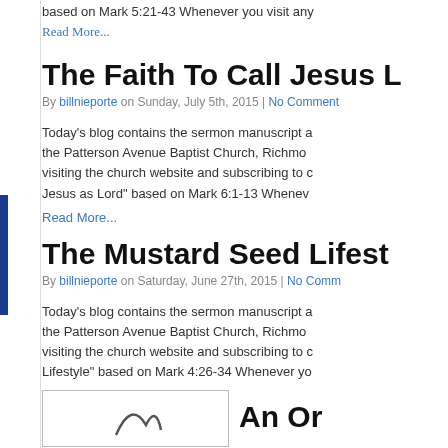based on Mark 5:21-43 Whenever you visit any
Read More...
The Faith To Call Jesus L
By billnieporte on Sunday, July 5th, 2015 | No Comment
Today's blog contains the sermon manuscript a the Patterson Avenue Baptist Church, Richmo visiting the church website and subscribing to c Jesus as Lord" based on Mark 6:1-13 Whenev
Read More...
The Mustard Seed Lifest
By billnieporte on Saturday, June 27th, 2015 | No Comm
Today's blog contains the sermon manuscript a the Patterson Avenue Baptist Church, Richmo visiting the church website and subscribing to c Lifestyle" based on Mark 4:26-34 Whenever yo
Read More...
An Or